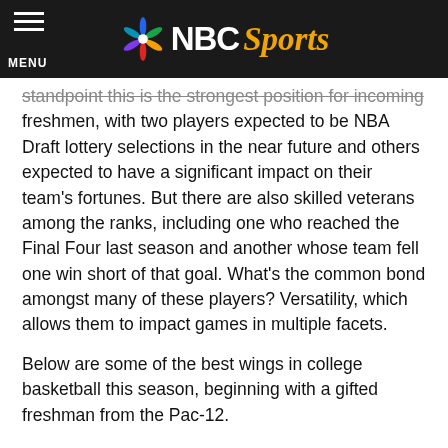NBC Sports
standpoint this is the strongest position for incoming freshmen, with two players expected to be NBA Draft lottery selections in the near future and others expected to have a significant impact on their team's fortunes. But there are also skilled veterans among the ranks, including one who reached the Final Four last season and another whose team fell one win short of that goal. What's the common bond amongst many of these players? Versatility, which allows them to impact games in multiple facets.
Below are some of the best wings in college basketball this season, beginning with a gifted freshman from the Pac-12.
POSITION RANKINGS: Lead Guards | Off Guards | Wing Forwards | Big Men
THE TOP TEN: